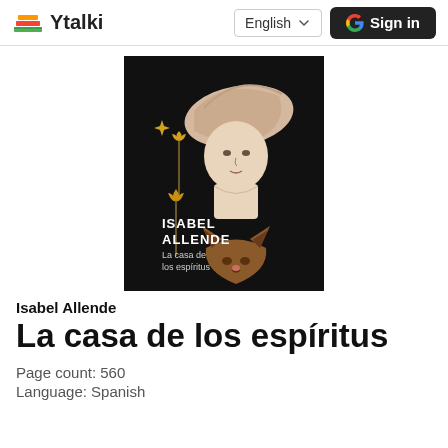Ytalki | English | Sign in
[Figure (illustration): Book cover of 'La casa de los espíritus' by Isabel Allende. Black background with a surrealist illustration: a woman's bust with a large fabric hat, golden star flowers, a fox head at the bottom. White bold text reads 'ISABEL ALLENDE' and below in smaller text 'La casa de los espíritus'.]
Isabel Allende
La casa de los espíritus
Page count: 560
Language: Spanish